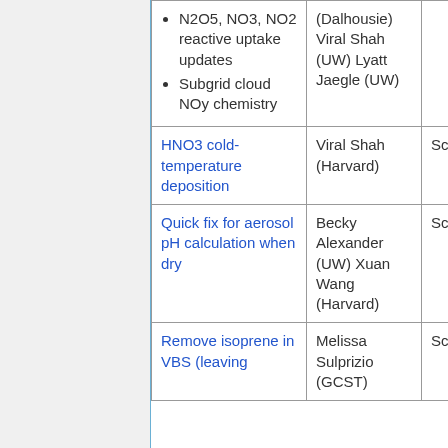| Description | Contact | Type |
| --- | --- | --- |
| N2O5, NO3, NO2 reactive uptake updates; Subgrid cloud NOy chemistry | (Dalhousie) Viral Shah (UW) Lyatt Jaegle (UW) |  |
| HNO3 cold-temperature deposition | Viral Shah (Harvard) | Science |
| Quick fix for aerosol pH calculation when dry | Becky Alexander (UW) Xuan Wang (Harvard) | Science |
| Remove isoprene in VBS (leaving | Melissa Sulprizio (GCST) | Science |